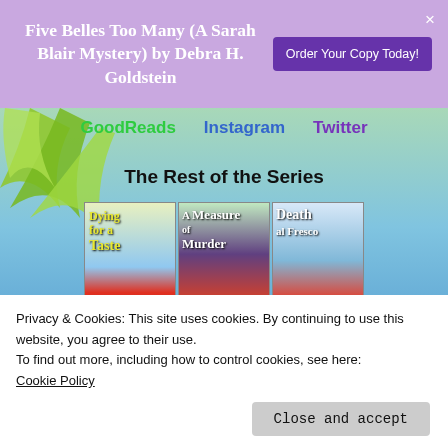Five Belles Too Many (A Sarah Blair Mystery) by Debra H. Goldstein
Order Your Copy Today!
GoodReads   Instagram   Twitter
The Rest of the Series
[Figure (photo): Three book covers side by side: 'Dying for a Taste', 'A Measure of Murder', 'Death al Fresco']
Privacy & Cookies: This site uses cookies. By continuing to use this website, you agree to their use.
To find out more, including how to control cookies, see here:
Cookie Policy
Close and accept